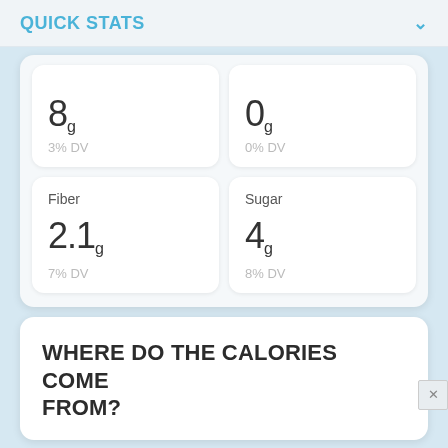QUICK STATS
8g
3% DV
0g
0% DV
Fiber
2.1g
7% DV
Sugar
4g
8% DV
WHERE DO THE CALORIES COME FROM?